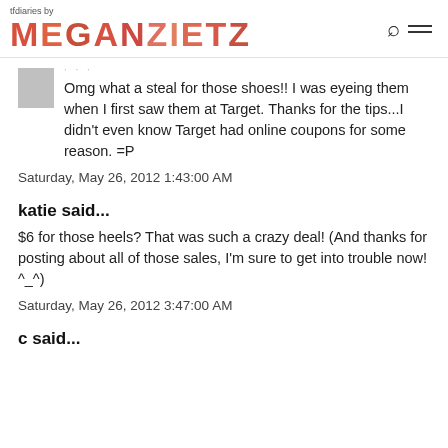tfdiaries by MEGAN ZIETZ
Omg what a steal for those shoes!! I was eyeing them when I first saw them at Target. Thanks for the tips...I didn't even know Target had online coupons for some reason. =P
Saturday, May 26, 2012 1:43:00 AM
katie said...
$6 for those heels? That was such a crazy deal! (And thanks for posting about all of those sales, I'm sure to get into trouble now! ^_^)
Saturday, May 26, 2012 3:47:00 AM
c said...